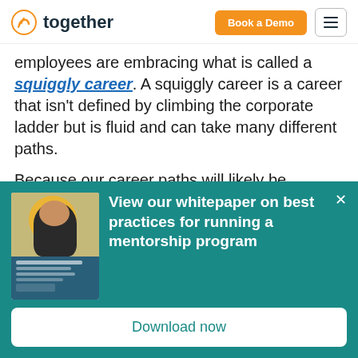together | Book a Demo
employees are embracing what is called a squiggly career. A squiggly career is a career that isn't defined by climbing the corporate ladder but is fluid and can take many different paths.
Because our career paths will likely be complex, it's an important goal to clarify what our career goals are. By building a relationship with a mentor you can learn
[Figure (other): Promotional banner with teal background showing a whitepaper offer. Contains image of person at laptop, whitepaper cover for 'Best Practices for Running a Mentorship Program', and bold white text: 'View our whitepaper on best practices for running a mentorship program'. Includes a 'Download now' button.]